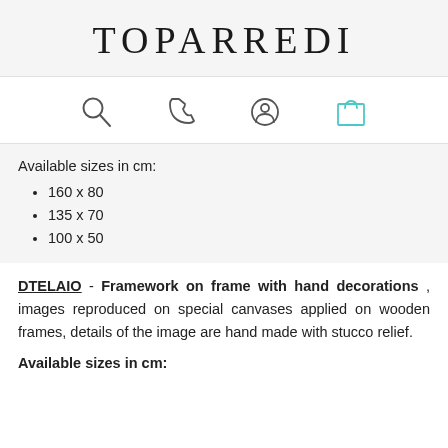TOPARREDI
[Figure (infographic): Navigation icons: search (magnifying glass), phone, user/account, and shopping bag/cart icons]
Available sizes in cm:
160 x 80
135 x 70
100 x 50
DTELAIO - Framework on frame with hand decorations , images reproduced on special canvases applied on wooden frames, details of the image are hand made with stucco relief.
Available sizes in cm: